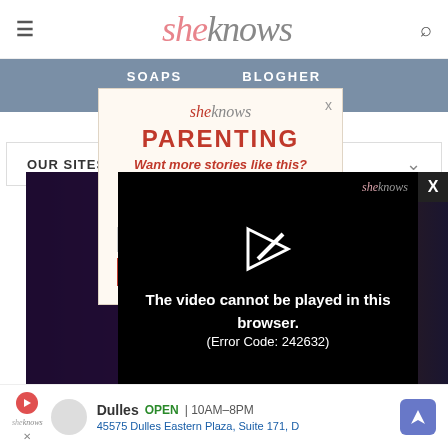sheknows
SOAPS   BLOGHER
OUR SITES
SheKnows is a part of
[Figure (screenshot): Popup modal with sheknows Parenting newsletter signup. Title: PARENTING. Subheading: Want more stories like this? Description: Sign up to receive stories on research-based tips, how-tos, #momhacks, cult products and be in the conversation on the wild journey that is Parenting. Email input field and red subscribe button.]
[Figure (screenshot): Video player overlay showing error message: The video cannot be played in this browser. (Error Code: 242632). Background shows dark movie-style imagery. sheknows logo in top right corner.]
The video cannot be played in this browser. (Error Code: 242632)
Dulles  OPEN | 10AM–8PM  45575 Dulles Eastern Plaza, Suite 171, D